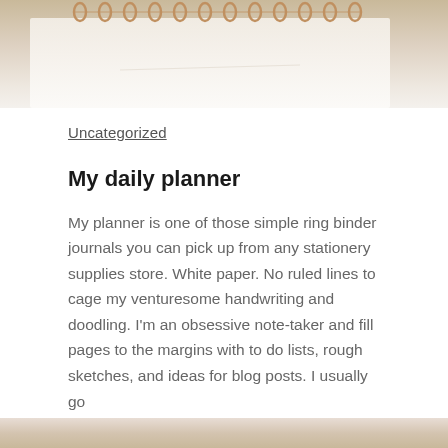[Figure (photo): Top portion of a spiral-bound notebook with gold/copper rings visible at the top, white paper, photographed from above on a light surface]
Uncategorized
My daily planner
My planner is one of those simple ring binder journals you can pick up from any stationery supplies store. White paper. No ruled lines to cage my venturesome handwriting and doodling. I'm an obsessive note-taker and fill pages to the margins with to do lists, rough sketches, and ideas for blog posts. I usually go
Continue reading  →
SEPTEMBER 9, 2020
[Figure (photo): Bottom strip of another photo partially visible at the very bottom of the page]